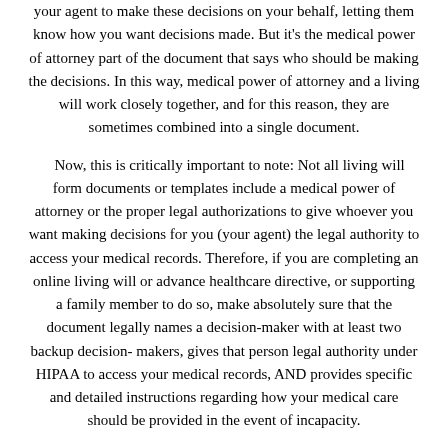your agent to make these decisions on your behalf, letting them know how you want decisions made. But it's the medical power of attorney part of the document that says who should be making the decisions. In this way, medical power of attorney and a living will work closely together, and for this reason, they are sometimes combined into a single document.
Now, this is critically important to note: Not all living will form documents or templates include a medical power of attorney or the proper legal authorizations to give whoever you want making decisions for you (your agent) the legal authority to access your medical records. Therefore, if you are completing an online living will or advance healthcare directive, or supporting a family member to do so, make absolutely sure that the document legally names a decision-maker with at least two backup decision-makers, gives that person legal authority under HIPAA to access your medical records, AND provides specific and detailed instructions regarding how your medical care should be provided in the event of incapacity.
5. Why Is A Living Will So Important?